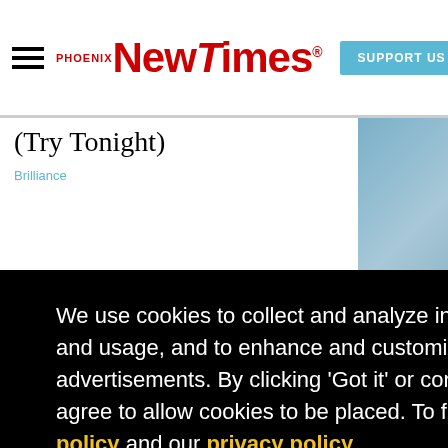Phoenix New Times — SUPPORT US
(Try Tonight)
Brilliance
We use cookies to collect and analyze information on site performance and usage, and to enhance and customize content and advertisements. By clicking 'Got it' or continuing to use the site, you agree to allow cookies to be placed. To find out more, visit our cookies policy and our privacy policy.
Got it!
Surgery Pics
tic